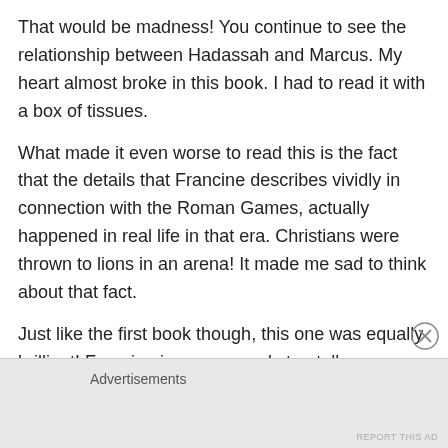That would be madness! You continue to see the relationship between Hadassah and Marcus. My heart almost broke in this book. I had to read it with a box of tissues.
What made it even worse to read this is the fact that the details that Francine describes vividly in connection with the Roman Games, actually happened in real life in that era. Christians were thrown to lions in an arena! It made me sad to think about that fact.
Just like the first book though, this one was equally brilliant! Francine is a very good storyteller.
Advertisements